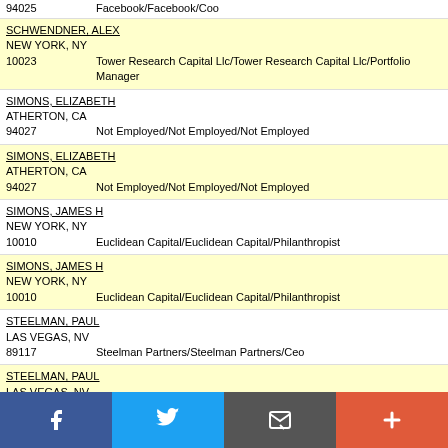94025   Facebook/Facebook/Coo
SCHWENDNER, ALEX
NEW YORK, NY
10023   Tower Research Capital Llc/Tower Research Capital Llc/Portfolio Manager
SIMONS, ELIZABETH
ATHERTON, CA
94027   Not Employed/Not Employed/Not Employed
SIMONS, ELIZABETH
ATHERTON, CA
94027   Not Employed/Not Employed/Not Employed
SIMONS, JAMES H
NEW YORK, NY
10010   Euclidean Capital/Euclidean Capital/Philanthropist
SIMONS, JAMES H
NEW YORK, NY
10010   Euclidean Capital/Euclidean Capital/Philanthropist
STEELMAN, PAUL
LAS VEGAS, NV
89117   Steelman Partners/Steelman Partners/Ceo
STEELMAN, PAUL
LAS VEGAS, NV
89117   Steelman Partners/Steelman Partners/Ceo
STEINGLASS, DAVID
WASHINGTON, DC
20008   Northlane Cnital Partners/Northlane Cnital Partners/Finance